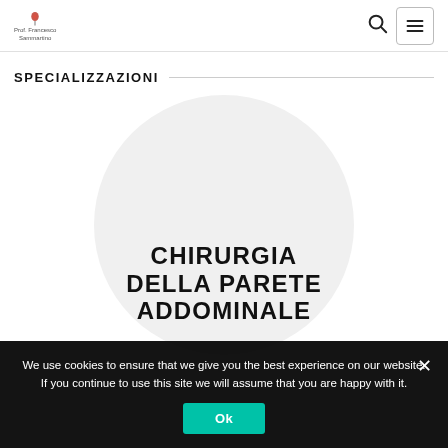[Figure (logo): Prof. Francesco Sammartino logo with small icon]
SPECIALIZZAZIONI
[Figure (illustration): Large light gray circle containing bold uppercase text reading CHIRURGIA DELLA PARETE ADDOMINALE]
We use cookies to ensure that we give you the best experience on our website. If you continue to use this site we will assume that you are happy with it.